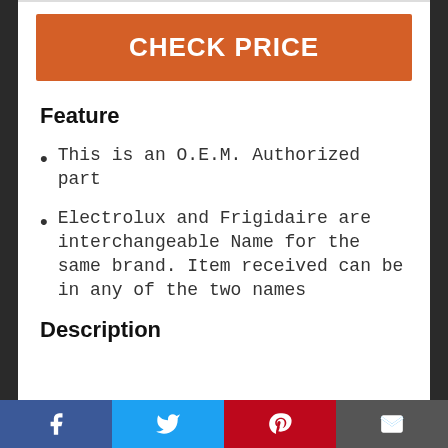[Figure (other): Orange CHECK PRICE button banner]
Feature
This is an O.E.M. Authorized part
Electrolux and Frigidaire are interchangeable Name for the same brand. Item received can be in any of the two names
Description
Facebook | Twitter | Pinterest | Email